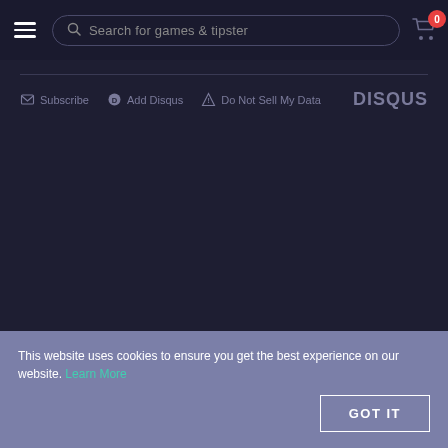[Figure (screenshot): Navigation bar with hamburger menu, search bar reading 'Search for games & tipster', and cart icon with badge showing 0]
[Figure (screenshot): Disqus comment section toolbar with Subscribe, Add Disqus, Do Not Sell My Data links and DISQUS logo]
This website uses cookies to ensure you get the best experience on our website. Learn More
GOT IT